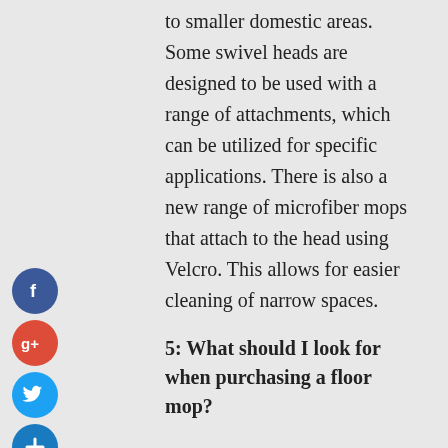to smaller domestic areas. Some swivel heads are designed to be used with a range of attachments, which can be utilized for specific applications. There is also a new range of microfiber mops that attach to the head using Velcro. This allows for easier cleaning of narrow spaces.
5: What should I look for when purchasing a floor mop?
When choosing a floor mop, take into account your budget, the size of your home, and how often you will use it. For example, if you have only one bathroom in your home, then you may not need to buy a full-size floor mop. However, if